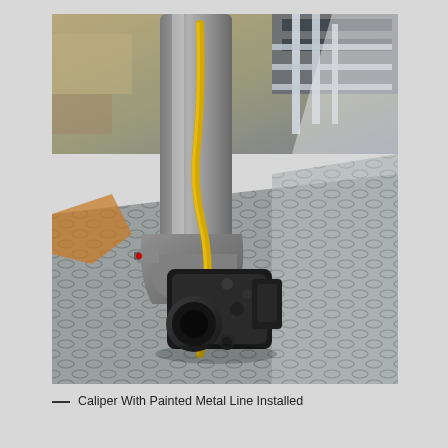[Figure (photo): Close-up photograph of a brake caliper assembly mounted on a motorcycle fork. A yellow-painted metal brake line runs through the caliper bracket. The caliper body is black. The fork is silver/grey. Background shows diamond-plate metal flooring and workshop elements in the upper portion.]
— Caliper With Painted Metal Line Installed